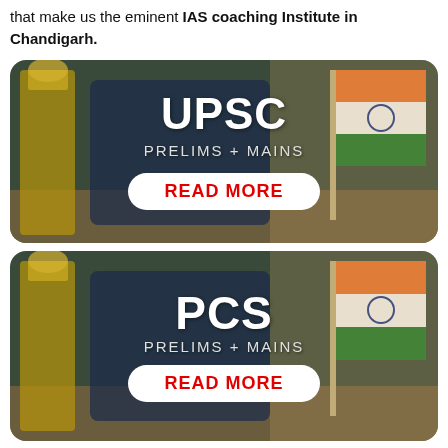Our amazing study methods are the prominent factors that make us the eminent IAS coaching Institute in Chandigarh.
[Figure (illustration): Banner card with background photo of Ashoka pillar and Indian flag, showing UPSC PRELIMS + MAINS with a READ MORE button]
[Figure (illustration): Banner card with background photo of Ashoka pillar and Indian flag, showing PCS PRELIMS + MAINS with a READ MORE button]